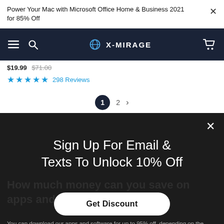Power Your Mac with Microsoft Office Home & Business 2021 for 85% Off
[Figure (screenshot): X-Mirage website navigation bar with hamburger menu, search icon, X-Mirage logo, and cart icon on dark navy background]
$19.99  $71.00
★★★★★  298 Reviews
1  2  >
×
Sign Up For Email & Texts To Unlock 10% Off
How much money can you save on apps and shop?
Get Discount
You can download our apps and software for up to 95% off, depending on the application. You can save $10, $20, $50, or even